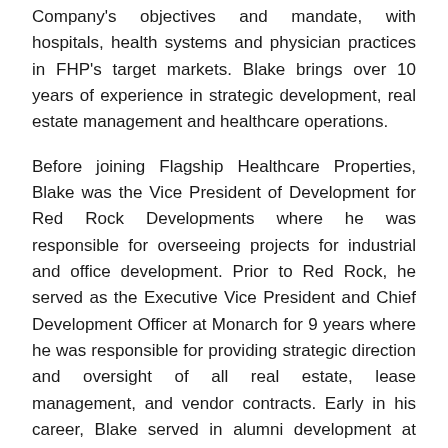Company's objectives and mandate, with hospitals, health systems and physician practices in FHP's target markets. Blake brings over 10 years of experience in strategic development, real estate management and healthcare operations.
Before joining Flagship Healthcare Properties, Blake was the Vice President of Development for Red Rock Developments where he was responsible for overseeing projects for industrial and office development. Prior to Red Rock, he served as the Executive Vice President and Chief Development Officer at Monarch for 9 years where he was responsible for providing strategic direction and oversight of all real estate, lease management, and vendor contracts. Early in his career, Blake served in alumni development at both Wingate University and Pfeiffer University.
Blake is a native North Carolinian and calls Locust,